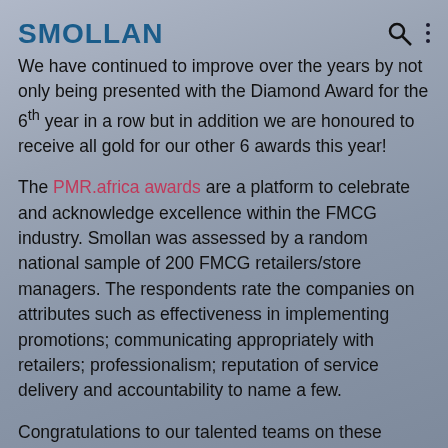SMOLLAN
We have continued to improve over the years by not only being presented with the Diamond Award for the 6th year in a row but in addition we are honoured to receive all gold for our other 6 awards this year!
The PMR.africa awards are a platform to celebrate and acknowledge excellence within the FMCG industry. Smollan was assessed by a random national sample of 200 FMCG retailers/store managers. The respondents rate the companies on attributes such as effectiveness in implementing promotions; communicating appropriately with retailers; professionalism; reputation of service delivery and accountability to name a few.
Congratulations to our talented teams on these exceptional results!